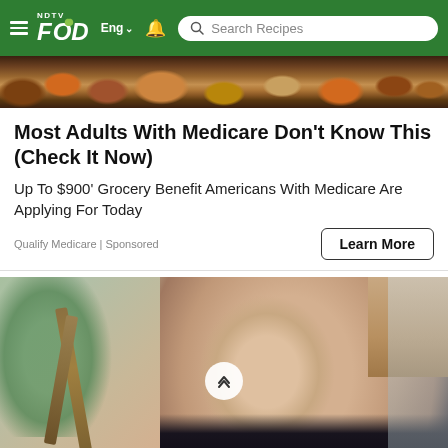NDTV FOOD Eng Search Recipes
[Figure (photo): Top portion of a food image strip showing various grains, nuts, and vegetables in warm tones]
Most Adults With Medicare Don't Know This (Check It Now)
Up To $900' Grocery Benefit Americans With Medicare Are Applying For Today
Qualify Medicare | Sponsored
[Figure (other): Learn More button with rounded border]
[Figure (photo): Pregnant woman holding her belly, standing near a plant and wooden stand, with dark pants. A scroll-to-top button is overlaid in the center.]